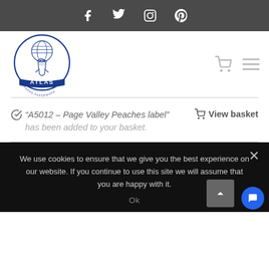Social media icons bar: Facebook, Twitter, Instagram, Pinterest
[Figure (logo): Atlas Repro Paperwork logo — globe held by figure inside circle with text ATLAS and REPRO PAPERWORK]
"A5012 – Page Valley Peaches label" has been added to your basket.
View basket
We use cookies to ensure that we give you the best experience on our website. If you continue to use this site we will assume that you are happy with it.
Ok